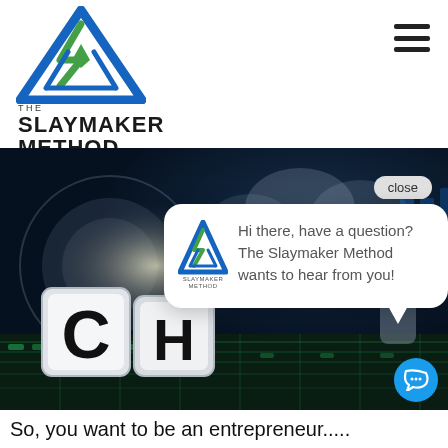[Figure (logo): The Slaymaker Method logo — a blue and green triangle with stylized S shape]
THE SLAYMAKER METHOD
[Figure (screenshot): Website screenshot showing a dark background with glowing circular shapes, letter blocks spelling out letters, and a chat popup overlay. The chat popup shows the Slaymaker Method logo and text: Hi there, have a question? The Slaymaker Method wants to hear from you! A close button and blue chat bubble icon are also visible.]
So, you want to be an entrepreneur.....